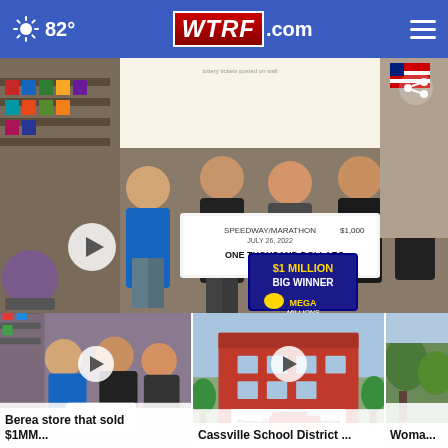82° WTRF.com
[Figure (photo): Group of people in a store holding a large check from Speedway/Marathon for $1,000 dated July 26, 2022, and a $1 Million Big Winner Mega Millions sign]
[Figure (photo): Thumbnail: Berea store that sold $1MM Mega Millions ticket, people inside store]
Berea store that sold $1MM...
[Figure (photo): Thumbnail: Cassville School District building exterior]
Cassville School District ...
[Figure (photo): Thumbnail: Woman partial view]